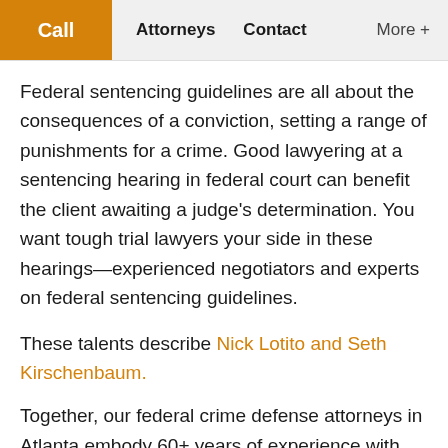Call | Attorneys | Contact | More +
Federal sentencing guidelines are all about the consequences of a conviction, setting a range of punishments for a crime. Good lawyering at a sentencing hearing in federal court can benefit the client awaiting a judge's determination. You want tough trial lawyers your side in these hearings—experienced negotiators and experts on federal sentencing guidelines.
These talents describe Nick Lotito and Seth Kirschenbaum.
Together, our federal crime defense attorneys in Atlanta embody 60+ years of experience with participation in federal court cases. Whether we are responding to a presentence investigation or advocating for you in or out of court, our knowledge of sentencing statutes and familiari...